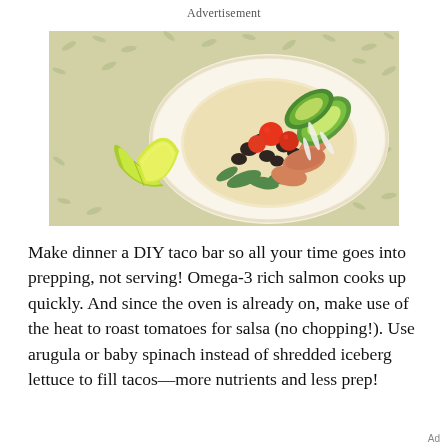Advertisement
[Figure (photo): Overhead view of a salmon taco on a flour tortilla topped with avocado slices, black beans, cherry tomatoes, and greens, served on a decorative plate next to two lime wedges, on a patterned tablecloth.]
Make dinner a DIY taco bar so all your time goes into prepping, not serving! Omega-3 rich salmon cooks up quickly. And since the oven is already on, make use of the heat to roast tomatoes for salsa (no chopping!). Use arugula or baby spinach instead of shredded iceberg lettuce to fill tacos—more nutrients and less prep!
Ad